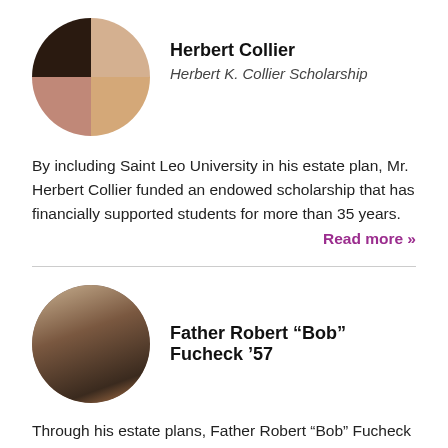[Figure (photo): Circular collage photo of four students (quadrant grid) representing Herbert K. Collier Scholarship recipients]
Herbert Collier
Herbert K. Collier Scholarship
By including Saint Leo University in his estate plan, Mr. Herbert Collier funded an endowed scholarship that has financially supported students for more than 35 years.
Read more »
[Figure (photo): Circular photo of Father Robert "Bob" Fucheck '57 speaking at a podium]
Father Robert “Bob” Fucheck ’57
Through his estate plans, Father Robert “Bob” Fucheck ’57 will continue his legacy of serving others and make an impact on the Saint Leo community and generations of